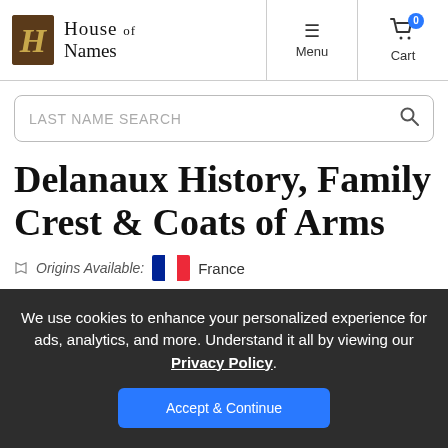House of Names — Menu — Cart 0
LAST NAME SEARCH
Delanaux History, Family Crest & Coats of Arms
Origins Available: France
We use cookies to enhance your personalized experience for ads, analytics, and more. Understand it all by viewing our Privacy Policy.
Accept & Continue